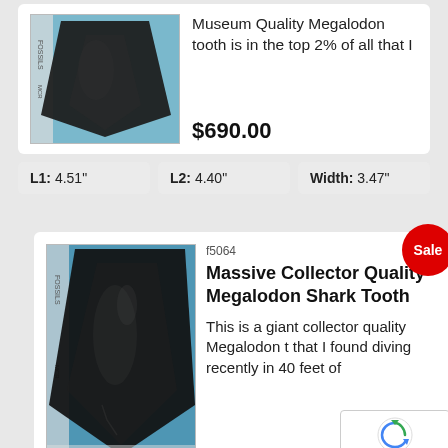[Figure (photo): Megalodon shark tooth fossil with ruler on blue background]
Museum Quality Megalodon tooth is in the top 2% of all that I
$690.00
| L1 | L2 | Width |
| --- | --- | --- |
| 4.51" | 4.40" | 3.47" |
[Figure (photo): Large dark Megalodon shark tooth fossil with ruler on blue background]
f5064
Massive Collector Quality Megalodon Shark Tooth
This is a giant collector quality Megalodon t... that I found diving recently in 40 feet of